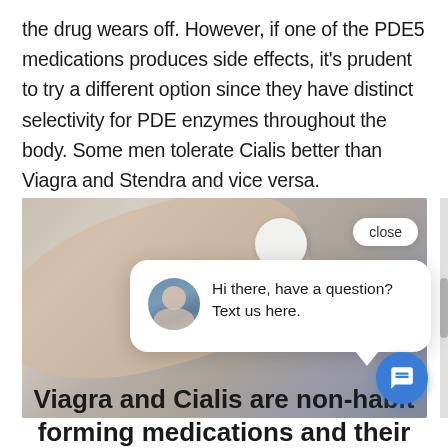the drug wears off. However, if one of the PDE5 medications produces side effects, it's prudent to try a different option since they have distinct selectivity for PDE enzymes throughout the body. Some men tolerate Cialis better than Viagra and Stendra and vice versa.
[Figure (photo): Close-up photo of hands holding pills, with a chat popup overlay showing a woman's avatar and the message 'Hi there, have a question? Text us here.' A close button appears in the top right of the image and a blue chat icon button appears at bottom right.]
Viagra and Cialis are non-habit forming medications and their